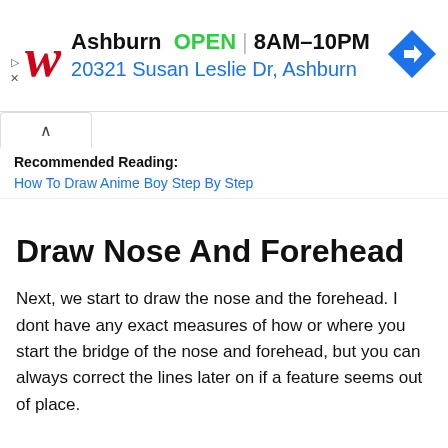[Figure (screenshot): Walgreens advertisement banner showing location 'Ashburn', status 'OPEN', hours '8AM–10PM', address '20321 Susan Leslie Dr, Ashburn', with a Walgreens cursive W logo in red and a blue diamond navigation arrow icon.]
Recommended Reading:
How To Draw Anime Boy Step By Step
Draw Nose And Forehead
Next, we start to draw the nose and the forehead. I dont have any exact measures of how or where you start the bridge of the nose and forehead, but you can always correct the lines later on if a feature seems out of place.